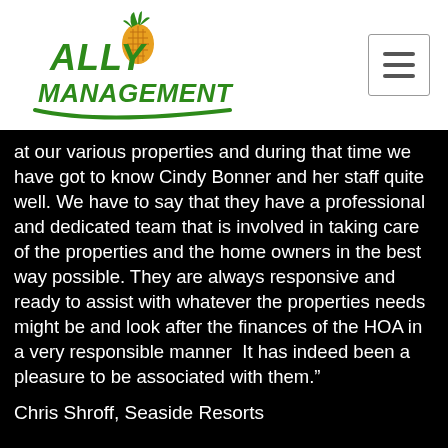[Figure (logo): Ally Management logo with pineapple graphic and green swoosh underline]
at our various properties and during that time we have got to know Cindy Bonner and her staff quite well. We have to say that they have a professional and dedicated team that is involved in taking care of the properties and the home owners in the best way possible. They are always responsive and ready to assist with whatever the properties needs  might be and look after the finances of the HOA in a very responsible manner  It has indeed been a pleasure to be associated with them.”
Chris Shroff, Seaside Resorts